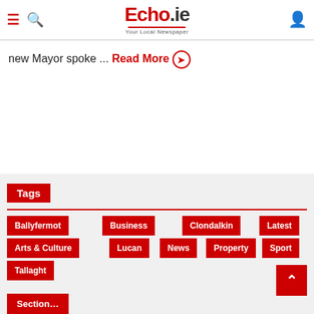Echo.ie — Your Local Newspaper
new Mayor spoke ... Read More
Tags
Ballyfermot
Business
Clondalkin
Latest
Arts & Culture
Lucan
News
Property
Sport
Tallaght